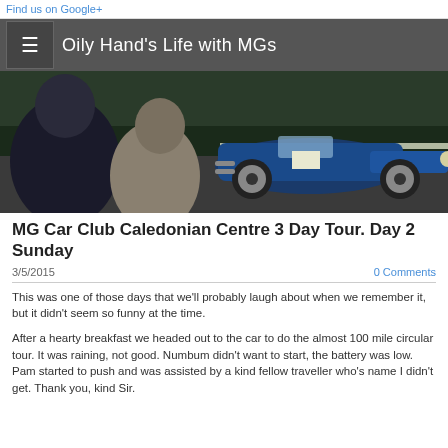Find us on Google+
Oily Hand's Life with MGs
[Figure (photo): Blue vintage MG sports car on a road, viewed from behind by two spectators]
MG Car Club Caledonian Centre 3 Day Tour. Day 2 Sunday
3/5/2015   0 Comments
This was one of those days that we'll probably laugh about when we remember it, but it didn't seem so funny at the time.
After a hearty breakfast we headed out to the car to do the almost 100 mile circular tour. It was raining, not good. Numbum didn't want to start, the battery was low. Pam started to push and was assisted by a kind fellow traveller who's name I didn't get. Thank you, kind Sir.